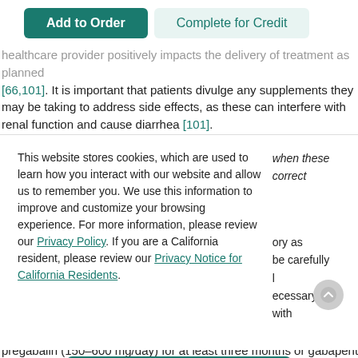[Figure (screenshot): Two buttons: 'Add to Order' (teal filled) and 'Complete for Credit' (light teal/gray outlined)]
healthcare provider positively impacts the delivery of treatment as planned [66,101]. It is important that patients divulge any supplements they may be taking to address side effects, as these can interfere with renal function and cause diarrhea [101].
Patients should be instructed to report nausea, vomiting, or diarrhea not
This website stores cookies, which are used to learn how you interact with our website and allow us to remember you. We use this information to improve and customize your browsing experience. For more information, please review our Privacy Policy. If you are a California resident, please review our Privacy Notice for California Residents.
when these / correct
ory as / be carefully / l / ecessary / with
[Figure (screenshot): Accept button (teal) and scroll-to-top circular button]
pregabalin (150–600 mg/day) for at least three months or gabapentin starting